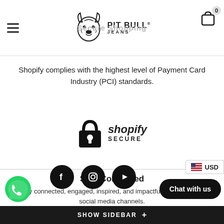Pit Bull Jeans — Secure Shopping
Shopify complies with the highest level of Payment Card Industry (PCI) standards.
[Figure (logo): Shopify Secure badge with padlock icon and text 'shopify SECURE']
Stay Connected
Stay connected, engaged, inspired, and impactful through all our social media channels.
[Figure (infographic): Social media icons: Facebook, Instagram, YouTube in black circles]
[Figure (other): WhatsApp green chat bubble icon]
[Figure (other): Chat with us black rounded button]
[Figure (other): USD currency badge with US flag icon]
SHOW SIDEBAR +